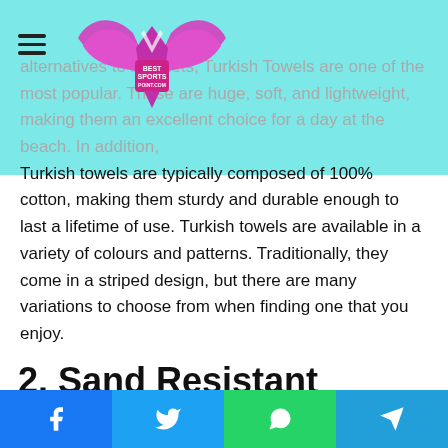[Figure (logo): Best Sports Point .com logo with pink/magenta wings and shield emblem]
alternatives to blankets, Turkish Towels are one of the most popular. These are huge, soft, and lightweight, making them an excellent choice for a day at the beach. In addition, Turkish towels are typically composed of 100% cotton, making them sturdy and durable enough to last a lifetime of use. Turkish towels are available in a variety of colours and patterns. Traditionally, they come in a striped design, but there are many variations to choose from when finding one that you enjoy.
2. Sand Resistant Blankets
The sand-resistant blanket is one of the most popular blanket alternatives. These blankets usually contain lightweight nylon. Sand will not attach to the surface of the nylon blanket,